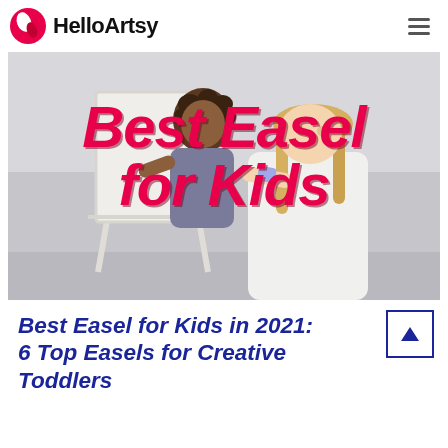HelloArtsy
[Figure (photo): Two children (one with curly dark hair, one with blonde hair) drawing on a white double-sided easel in a bright room. Overlaid with large bold italic pink/red text 'Best Easel for Kids'.]
Best Easel for Kids in 2021: 6 Top Easels for Creative Toddlers